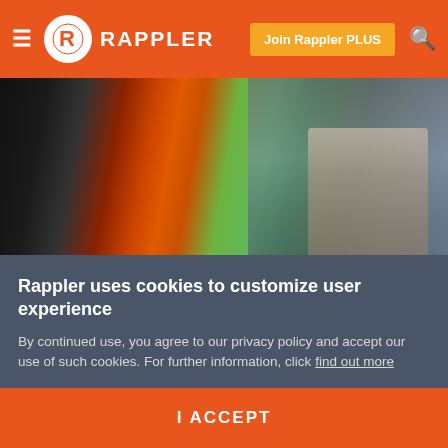RAPPLER — Join Rappler PLUS
[Figure (photo): Hero image showing colorful abstract background with red, orange, green and blue tones; person partially visible on right side]
[Figure (photo): Author headshot: young Asian man with glasses and dark blazer, standing outdoors with autumn trees in background]
Imagine a middle-class student who chooses to attend his classes through Skype instead of being physically present. He is neither physically nor financially handicapped.
He simply had a few bad days at school was
Rappler uses cookies to customize user experience
By continued use, you agree to our privacy policy and accept our use of such cookies. For further information, click find out more
I ACCEPT